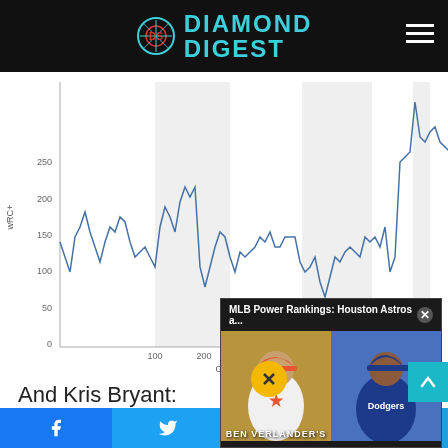Diamond Digest
[Figure (continuous-plot): Line chart of wRC+ (weighted runs created plus) over game numbers 0-750, with alternating shaded gray bands. The line fluctuates between roughly 25 and 265, showing multiple peaks and troughs.]
And Kris Bryant:
Kris Bryant's 20-Game Rolling wRC+
Weighted runs created plus, 2015-...
[Figure (screenshot): Overlay ad popup showing 'MLB Power Rankings: Houston Astros a...' with two player photos - Justin Verlander in Astros uniform and a Dodgers player. Yellow mute button visible. Text 'BEN VERLANDER'S' at bottom.]
Facebook | Twitter | WhatsApp | Telegram share buttons